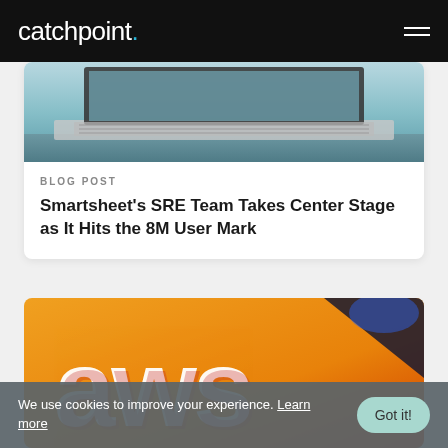catchpoint.
[Figure (photo): Blurred laptop on desk, top portion visible, blue-teal toned photo]
BLOG POST
Smartsheet's SRE Team Takes Center Stage as It Hits the 8M User Mark
[Figure (photo): AWS logo in 3D red and white letters on orange background with blue stage lighting]
We use cookies to improve your experience. Learn more  Got it!